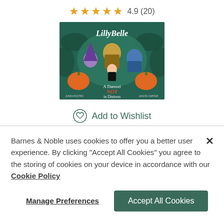[Figure (other): Star rating showing 4.5 or 5 gold stars with rating 4.9 (20)]
[Figure (photo): Book cover for LillyBelle: A Damsel NOT in Distress — illustrated children's book with cartoon characters on a green background]
Add to Wishlist
Barnes & Noble uses cookies to offer you a better user experience. By clicking "Accept All Cookies" you agree to the storing of cookies on your device in accordance with our Cookie Policy
Manage Preferences
Accept All Cookies